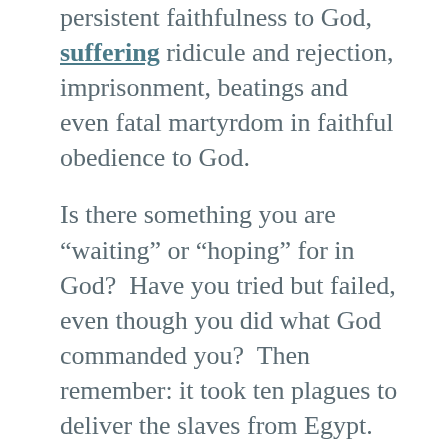persistent faithfulness to God, suffering ridicule and rejection, imprisonment, beatings and even fatal martyrdom in faithful obedience to God.
Is there something you are “waiting” or “hoping” for in God?  Have you tried but failed, even though you did what God commanded you?  Then remember: it took ten plagues to deliver the slaves from Egypt.  Don’t give up!
So what are you trusting for?  Do you have unfulfilled dreams or unanswered prayers?  God has not forgotten you—